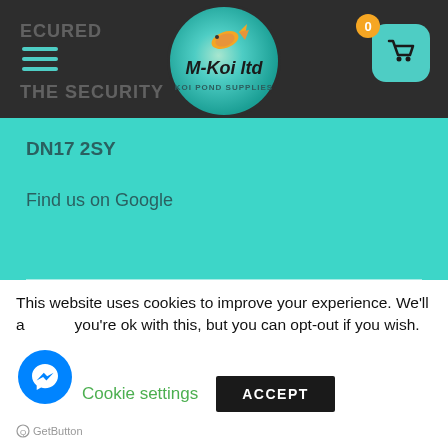[Figure (logo): M-Koi Ltd Koi Pond Supplies circular logo with fish and teal/green gradient background]
DN17 2SY
Find us on Google
CONTACT US
[Figure (infographic): Row of contact icons: location pin, phone, envelope, Facebook]
This website uses cookies to improve your experience. We'll assume you're ok with this, but you can opt-out if you wish.
Cookie settings
ACCEPT